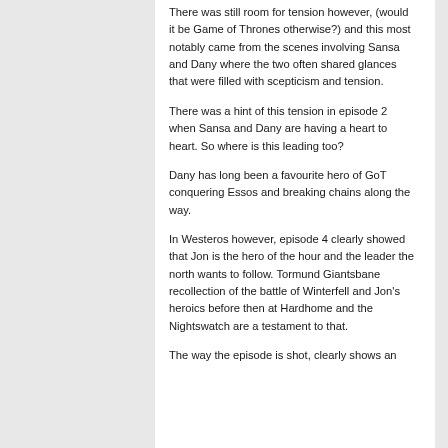There was still room for tension however, (would it be Game of Thrones otherwise?) and this most notably came from the scenes involving Sansa and Dany where the two often shared glances that were filled with scepticism and tension.
There was a hint of this tension in episode 2 when Sansa and Dany are having a heart to heart. So where is this leading too?
Dany has long been a favourite hero of GoT conquering Essos and breaking chains along the way.
In Westeros however, episode 4 clearly showed that Jon is the hero of the hour and the leader the north wants to follow. Tormund Giantsbane recollection of the battle of Winterfell and Jon's heroics before then at Hardhome and the Nightswatch are a testament to that.
The way the episode is shot, clearly shows an...